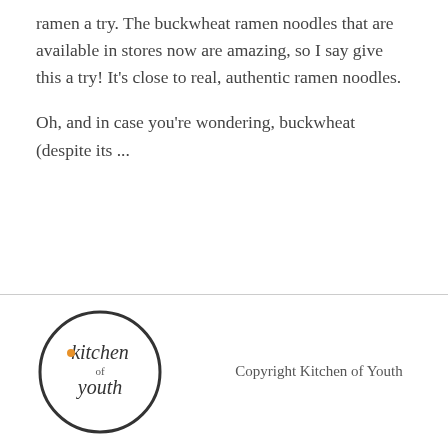ramen a try. The buckwheat ramen noodles that are available in stores now are amazing, so I say give this a try! It's close to real, authentic ramen noodles.
Oh, and in case you're wondering, buckwheat (despite its ...
[Figure (logo): Kitchen of Youth circular logo with text 'kitchen of youth' inside a circle]
Copyright Kitchen of Youth